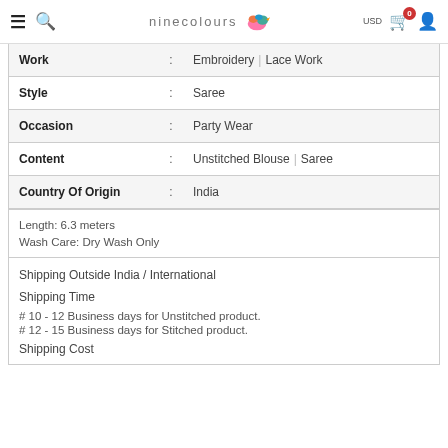ninecolours — USD 0 (cart) user icon
| Work | : | Embroidery | Lace Work |
| Style | : | Saree |
| Occasion | : | Party Wear |
| Content | : | Unstitched Blouse | Saree |
| Country Of Origin | : | India |
Length: 6.3 meters
Wash Care: Dry Wash Only
Shipping Outside India / International
Shipping Time
# 10 - 12 Business days for Unstitched product.
# 12 - 15 Business days for Stitched product.
Shipping Cost